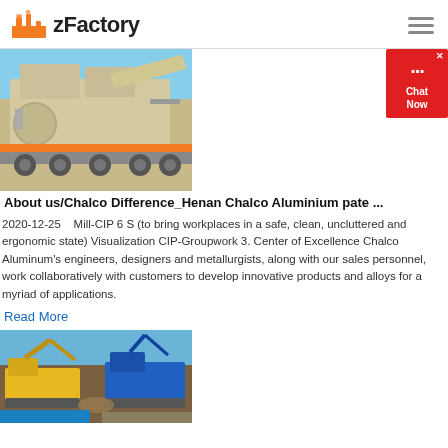zFactory
[Figure (photo): Heavy industrial mobile crushing/processing machine on a truck trailer at a worksite]
About us/Chalco Difference_Henan Chalco Aluminium pate ...
2020-12-25    Mill-CIP 6 S (to bring workplaces in a safe, clean, uncluttered and ergonomic state) Visualization CIP-Groupwork 3. Center of Excellence Chalco Aluminum's engineers, designers and metallurgists, along with our sales personnel, work collaboratively with customers to develop innovative products and alloys for a myriad of applications.
Read More
[Figure (photo): Construction/mining equipment and machinery working on a dirt site, partially visible]